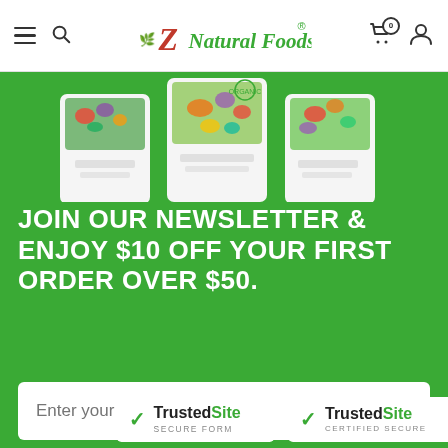Z Natural Foods
[Figure (photo): Three product bags of Z Natural Foods shown from the waist up against a green background, each with colorful fruit and vegetable imagery on the labels.]
JOIN OUR NEWSLETTER & ENJOY $10 OFF YOUR FIRST ORDER OVER $50.
[Figure (other): Email input field with placeholder text 'Enter your email']
[Figure (other): JOIN US button with white border on green background]
[Figure (logo): TrustedSite Secure Form badge]
[Figure (logo): TrustedSite Certified Secure badge]